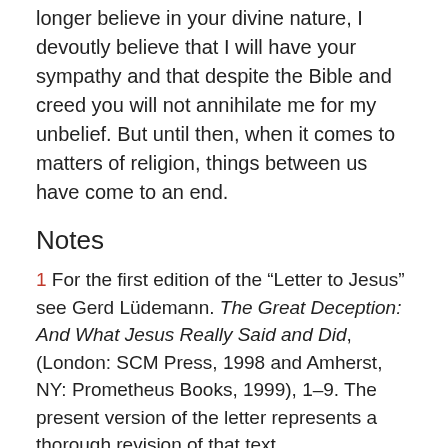longer believe in your divine nature, I devoutly believe that I will have your sympathy and that despite the Bible and creed you will not annihilate me for my unbelief. But until then, when it comes to matters of religion, things between us have come to an end.
Notes
1 For the first edition of the “Letter to Jesus” see Gerd Lüdemann. The Great Deception: And What Jesus Really Said and Did, (London: SCM Press, 1998 and Amherst, NY: Prometheus Books, 1999), 1–9. The present version of the letter represents a thorough revision of that text.
Comments (14)